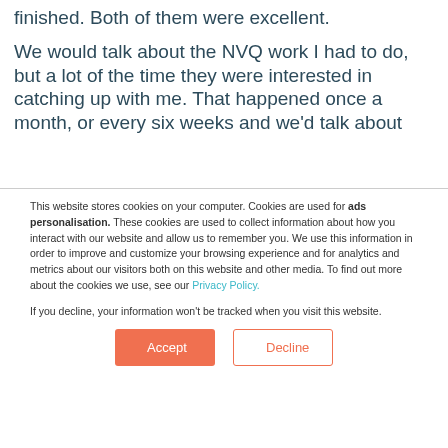Thomas but he retired a few months before I finished. Both of them were excellent.
We would talk about the NVQ work I had to do, but a lot of the time they were interested in catching up with me. That happened once a month, or every six weeks and we'd talk about
This website stores cookies on your computer. Cookies are used for ads personalisation. These cookies are used to collect information about how you interact with our website and allow us to remember you. We use this information in order to improve and customize your browsing experience and for analytics and metrics about our visitors both on this website and other media. To find out more about the cookies we use, see our Privacy Policy.

If you decline, your information won't be tracked when you visit this website.